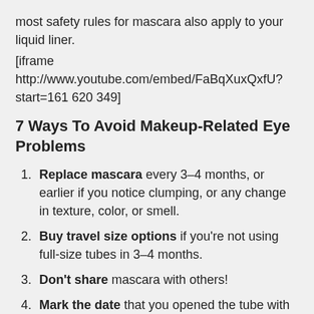most safety rules for mascara also apply to your liquid liner.
[iframe http://www.youtube.com/embed/FaBqXuxQxfU?start=161 620 349]
7 Ways To Avoid Makeup-Related Eye Problems
Replace mascara every 3–4 months, or earlier if you notice clumping, or any change in texture, color, or smell.
Buy travel size options if you're not using full-size tubes in 3–4 months.
Don't share mascara with others!
Mark the date that you opened the tube with a marker.
After any kind of eye infection, replace